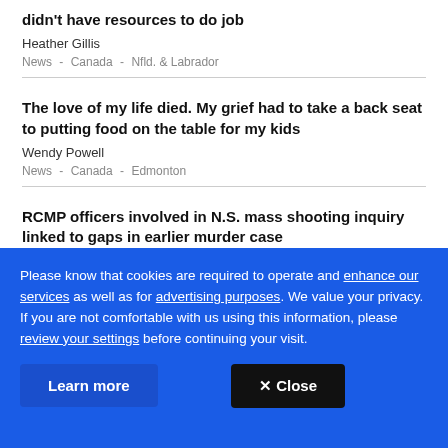didn't have resources to do job
Heather Gillis
News - Canada - Nfld. & Labrador
The love of my life died. My grief had to take a back seat to putting food on the table for my kids
Wendy Powell
News - Canada - Edmonton
RCMP officers involved in N.S. mass shooting inquiry linked to gaps in earlier murder case
Haley Ryan
Please know that cookies are required to operate and enhance our services as well as for advertising purposes. We value your privacy. If you are not comfortable with us using this information, please review your settings before continuing your visit.
Learn more
✕ Close